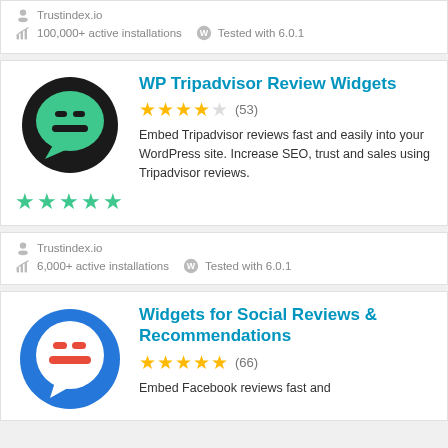Trustindex.io
100,000+ active installations   Tested with 6.0.1
WP Tripadvisor Review Widgets
[Figure (illustration): Black circle logo with green chat bubble containing two horizontal bars, with 5 green stars below]
4.5 stars (53)
Embed Tripadvisor reviews fast and easily into your WordPress site. Increase SEO, trust and sales using Tripadvisor reviews.
Trustindex.io
6,000+ active installations   Tested with 6.0.1
Widgets for Social Reviews & Recommendations
[Figure (illustration): Blue circle logo with white chat bubble containing red horizontal bars]
5 stars (66)
Embed Facebook reviews fast and